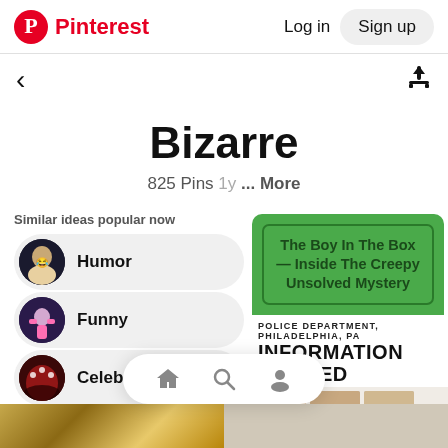Pinterest  Log in  Sign up
Bizarre
825 Pins 1y ... More
Similar ideas popular now
Humor
Funny
Celebrities
[Figure (screenshot): Pinterest pin card showing green background with text 'The Boy In The Box — Inside The Creepy Unsolved Mystery' and a police department information wanted notice from Philadelphia]
Home Search Profile navigation icons